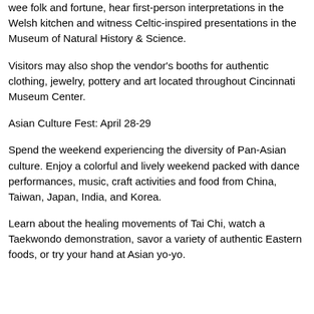wee folk and fortune, hear first-person interpretations in the Welsh kitchen and witness Celtic-inspired presentations in the Museum of Natural History & Science.
Visitors may also shop the vendor's booths for authentic clothing, jewelry, pottery and art located throughout Cincinnati Museum Center.
Asian Culture Fest: April 28-29
Spend the weekend experiencing the diversity of Pan-Asian culture. Enjoy a colorful and lively weekend packed with dance performances, music, craft activities and food from China, Taiwan, Japan, India, and Korea.
Learn about the healing movements of Tai Chi, watch a Taekwondo demonstration, savor a variety of authentic Eastern foods, or try your hand at Asian yo-yo.